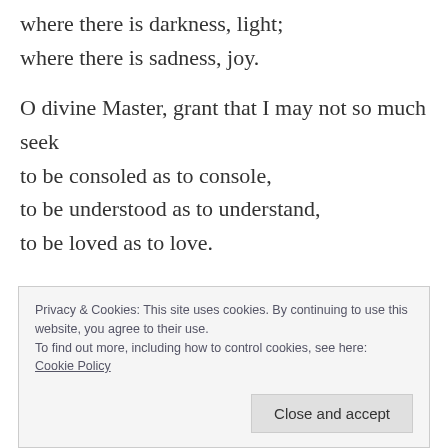where there is darkness, light;
where there is sadness, joy.

O divine Master, grant that I may not so much seek
to be consoled as to console,
to be understood as to understand,
to be loved as to love.
For it is in giving that we receive,
Privacy & Cookies: This site uses cookies. By continuing to use this website, you agree to their use.
To find out more, including how to control cookies, see here:
Cookie Policy

Close and accept